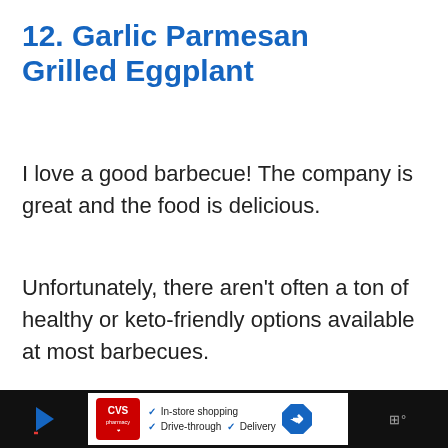12. Garlic Parmesan Grilled Eggplant
I love a good barbecue! The company is great and the food is delicious.
Unfortunately, there aren't often a ton of healthy or keto-friendly options available at most barbecues.
That's where this tasty garlic and pa…
[Figure (other): Advertisement bar at bottom of page showing CVS pharmacy ad with In-store shopping, Drive-through, and Delivery options, with navigation arrow icon, on a dark background.]